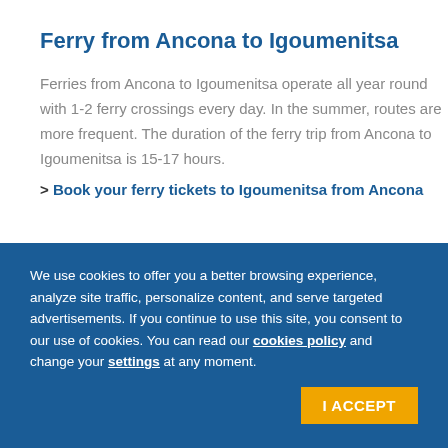Ferry from Ancona to Igoumenitsa
Ferries from Ancona to Igoumenitsa operate all year round with 1-2 ferry crossings every day. In the summer, routes are more frequent. The duration of the ferry trip from Ancona to Igoumenitsa is 15-17 hours.
> Book your ferry tickets to Igoumenitsa from Ancona
What types of ferries travel to/from Ancona?
We use cookies to offer you a better browsing experience, analyze site traffic, personalize content, and serve targeted advertisements. If you continue to use this site, you consent to our use of cookies. You can read our cookies policy and change your settings at any moment.